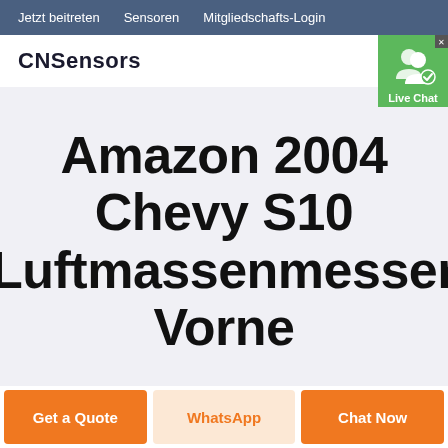Jetzt beitreten   Sensoren   Mitgliedschafts-Login
CNSensors
[Figure (illustration): Live Chat button with two people icon and green background with close X button]
Amazon 2004 Chevy S10 Luftmassenmesser Vorne
Get a Quote
WhatsApp
Chat Now